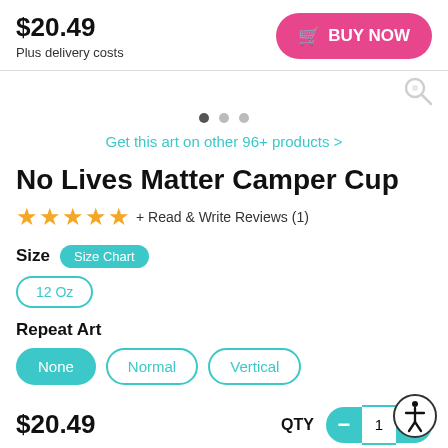$20.49
Plus delivery costs
[Figure (other): Pink rounded BUY NOW button with shopping cart icon]
[Figure (other): Carousel dots: one active (dark), two inactive (gray)]
Get this art on other 96+ products >
No Lives Matter Camper Cup
[Figure (other): Five gold star rating icons]
+ Read & Write Reviews (1)
Size
Size Chart
12 Oz
Repeat Art
None
Normal
Vertical
$20.49
QTY